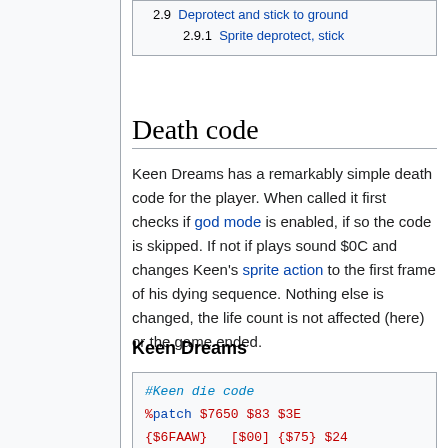| 2.9  Deprotect and stick to ground |
| 2.9.1  Sprite deprotect, stick |
Death code
Keen Dreams has a remarkably simple death code for the player. When called it first checks if god mode is enabled, if so the code is skipped. If not if plays sound $0C and changes Keen's sprite action to the first frame of his dying sequence. Nothing else is changed, the life count is not affected (here) or the game ended.
Keen Dreams
#Keen die code
%patch $7650 $83 $3E
{$6FAAW}  [$00] {$75} $24
$B8 [$000CW]  $50 $9A
$10BB1282RL